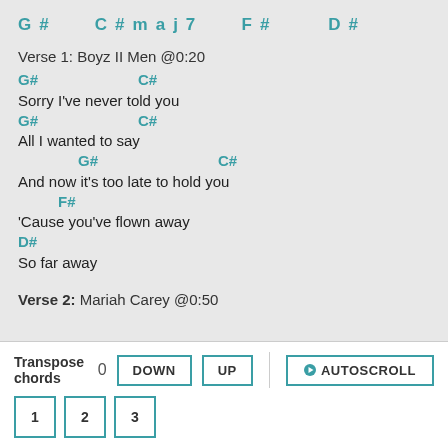G#   C#maj7   F#   D#
Verse 1: Boyz II Men @0:20
G#         C#
Sorry I've never told you
G#         C#
All I wanted to say
G#               C#
And now it's too late to hold you
F#
'Cause you've flown away
D#
So far away
Verse 2: Mariah Carey @0:50
Transpose chords 0  DOWN  UP  AUTOSCROLL  1  2  3